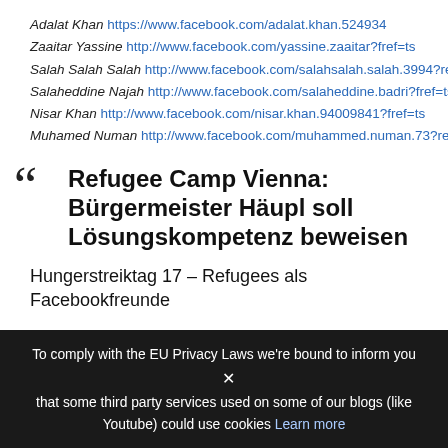Adalat Khan https://www.facebook.com/adalat.khan.524934
Zaaitar Yassine http://www.facebook.com/yassine.zaaitar?fref=ts
Salah Salah Salah http://www.facebook.com/salahsalah.salah.3994?ref=ts
Salaheddine Najah http://www.facebook.com/salaheddine.badri?fref=ts
Nisar Khan http://www.facebook.com/nisar.khan.94009841?fref=ts
Muhamed Numan http://www.facebook.com/muhammed.numan.73?ref=ts
Refugee Camp Vienna: Bürgermeister Häupl soll Lösungskompetenz beweisen
Hungerstreiktag 17 – Refugees als Facebookfreunde
Wien (OTS) – In der gestrigen Debatte im Wiener Landtag beschränka politischen Parteien darauf ihre bekannten Positionen zu Flucht und M wiederholen, leider wurde nur geredet und kein Beschluss gefasst. Er vor allem die Reaktion der SPÖ die behauptet, dass in Wien alles in O auf die konkrete Situation der Protestierenden einzugehen. Die Refug
To comply with the EU Privacy Laws we're bound to inform you × that some third party services used on some of our blogs (like Youtube) could use cookies Learn more